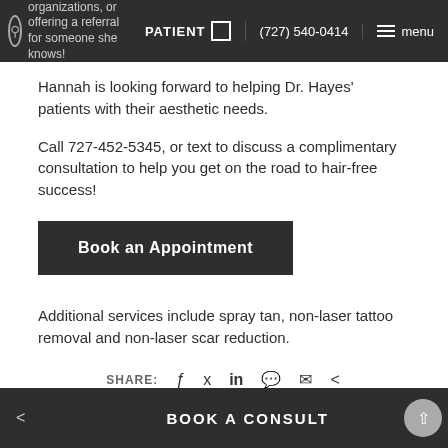organizations, or offering a referral for someone she knows! | PATIENT | (727) 540-0414 | menu
Hannah is looking forward to helping Dr. Hayes' patients with their aesthetic needs.
Call 727-452-5345, or text to discuss a complimentary consultation to help you get on the road to hair-free success!
Book an Appointment
Additional services include spray tan, non-laser tattoo removal and non-laser scar reduction.
SHARE:
BOOK A CONSULT